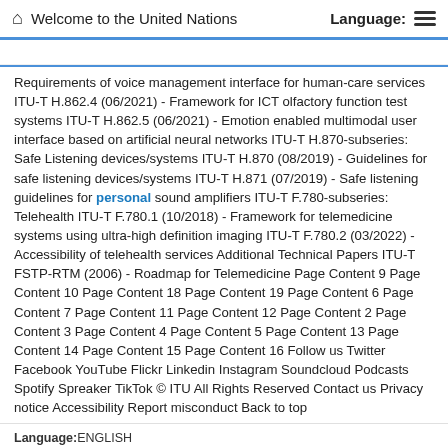Welcome to the United Nations | Language:
Requirements of voice management interface for human-care services ITU-T H.862.4 (06/2021) - Framework for ICT olfactory function test systems ITU-T H.862.5 (06/2021) - Emotion enabled multimodal user interface based on artificial neural networks ITU-T H.870-subseries: Safe Listening devices/systems ITU-T H.870 (08/2019)  - Guidelines for safe listening devices/systems ITU-T H.871 (07/2019)  - Safe listening guidelines for personal sound amplifiers ITU-T F.780-subseries: Telehealth ITU-T F.780.1 (10/2018)  - Framework for telemedicine systems using ultra-high definition imaging ITU-T F.780.2 (03/2022)  - Accessibility of telehealth services Additional Technical Papers ITU-T FSTP-RTM (2006)  - Roadmap for Telemedicine Page Content 9 Page Content 10 Page Content 18 Page Content 19 Page Content 6 Page Content 7 Page Content 11 Page Content 12 Page Content 2 Page Content 3 Page Content 4 Page Content 5 Page Content 13 Page Content 14 Page Content 15 Page Content 16 Follow us Twitter Facebook YouTube Flickr Linkedin Instagram Soundcloud Podcasts Spotify Spreaker TikTok © ITU All Rights Reserved Contact us Privacy notice Accessibility Report misconduct Back to top
Language:ENGLISH
Score: 424149.66 - https://www.itu.int/en/ITU-T/s...-2024/16/Pages/rm/ehealth.aspx
Data Source: UN
Summary Note_EGM_OPWD
Identify practices for supporting the autonomy and independence of older